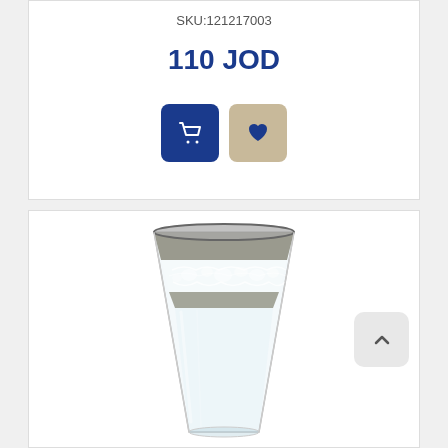SKU:121217003
110 JOD
[Figure (screenshot): Two buttons: a dark blue shopping cart button and a beige/tan heart/wishlist button]
[Figure (photo): A clear glass tumbler with silver/platinum band at the top and decorative white lace-like pattern below the band, on a white background]